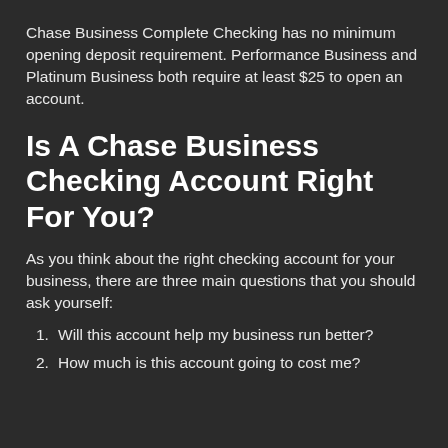Chase Business Complete Checking has no minimum opening deposit requirement. Performance Business and Platinum Business both require at least $25 to open an account.
Is A Chase Business Checking Account Right For You?
As you think about the right checking account for your business, there are three main questions that you should ask yourself:
Will this account help my business run better?
How much is this account going to cost me?